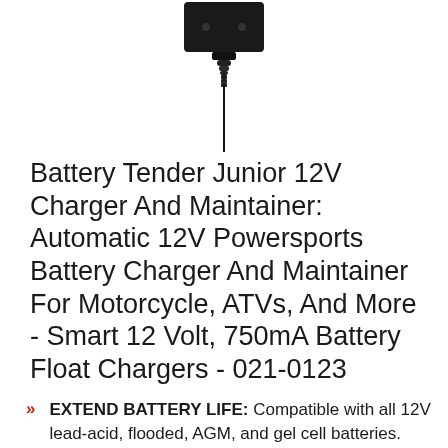[Figure (photo): Black battery charger/maintainer device shown from the front — a rectangular black box at the top with a coiled cord extending downward]
Battery Tender Junior 12V Charger And Maintainer: Automatic 12V Powersports Battery Charger And Maintainer For Motorcycle, ATVs, And More - Smart 12 Volt, 750mA Battery Float Chargers - 021-0123
EXTEND BATTERY LIFE: Compatible with all 12V lead-acid, flooded, AGM, and gel cell batteries. Complete 4-step charging program (Initialization, Bulk Charge, Float Mode) allows for optimization of battery power, without overcharging